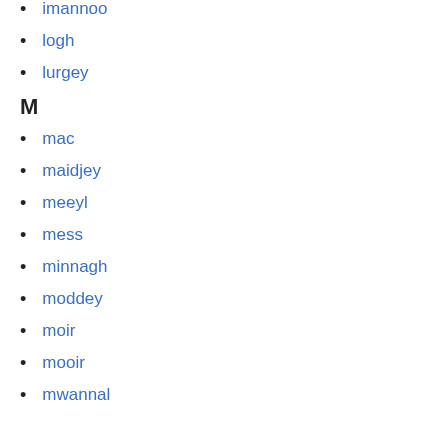imannoo
logh
lurgey
M
mac
maidjey
meeyl
mess
minnagh
moddey
moir
mooir
mwannal